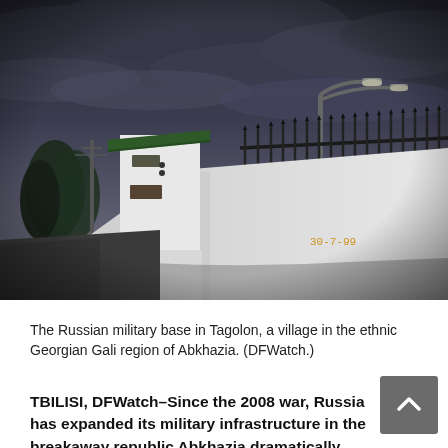[Figure (photo): Photograph of the Russian military base in Tagolon, a village in the ethnic Georgian Gali region of Abkhazia. Shows a white guard tower with green roof, a black iron fence, a street lamp against a dark cloudy sky. Date stamp reads 30-7-99. Photo credit: DFWatch.]
The Russian military base in Tagolon, a village in the ethnic Georgian Gali region of Abkhazia. (DFWatch.)
TBILISI, DFWatch–Since the 2008 war, Russia has expanded its military infrastructure in the breakaway republic Abkhazia dramatically.